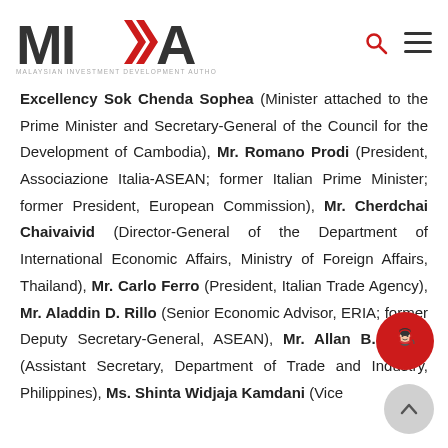MIDA — Malaysian Investment Development Authority
Excellency Sok Chenda Sophea (Minister attached to the Prime Minister and Secretary-General of the Council for the Development of Cambodia), Mr. Romano Prodi (President, Associazione Italia-ASEAN; former Italian Prime Minister; former President, European Commission), Mr. Cherdchai Chaivaivid (Director-General of the Department of International Economic Affairs, Ministry of Foreign Affairs, Thailand), Mr. Carlo Ferro (President, Italian Trade Agency), Mr. Aladdin D. Rillo (Senior Economic Advisor, ERIA; former Deputy Secretary-General, ASEAN), Mr. Allan B. Gepty (Assistant Secretary, Department of Trade and Industry, Philippines), Ms. Shinta Widjaja Kamdani (Vice